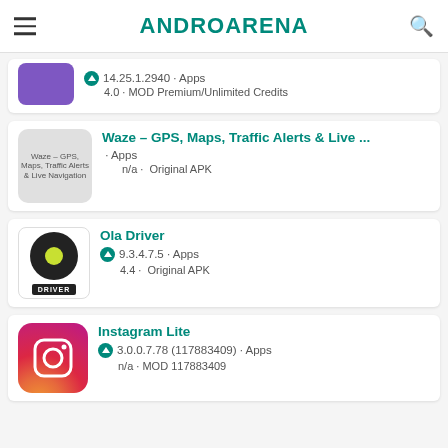ANDROAREA
14.25.1.2940 · Apps
4.0 · MOD Premium/Unlimited Credits
Waze – GPS, Maps, Traffic Alerts & Live ...
· Apps
n/a · Original APK
Ola Driver
9.3.4.7.5 · Apps
4.4 · Original APK
Instagram Lite
3.0.0.7.78 (117883409) · Apps
n/a · MOD 117883409